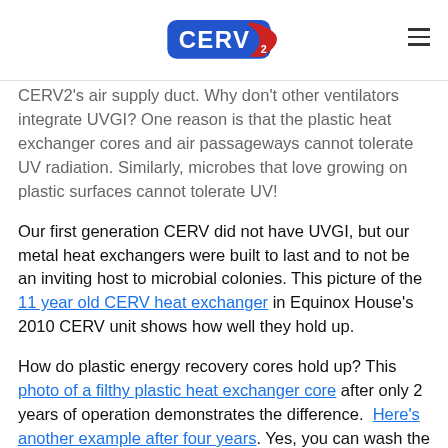CERV2 logo and navigation
CERV2's air supply duct. Why don't other ventilators integrate UVGI?  One reason is that the plastic heat exchanger cores and air passageways cannot tolerate UV radiation.  Similarly, microbes that love growing on plastic surfaces cannot tolerate UV!
Our first generation CERV did not have UVGI, but our metal heat exchangers were built to last and to not be an inviting host to microbial colonies. This picture of the 11 year old CERV heat exchanger in Equinox House's 2010 CERV unit shows how well they hold up.
How do plastic energy recovery cores hold up? This photo of a filthy plastic heat exchanger core after only 2 years of operation demonstrates the difference.  Here's another example after four years. Yes, you can wash the plastic core (it's "required"